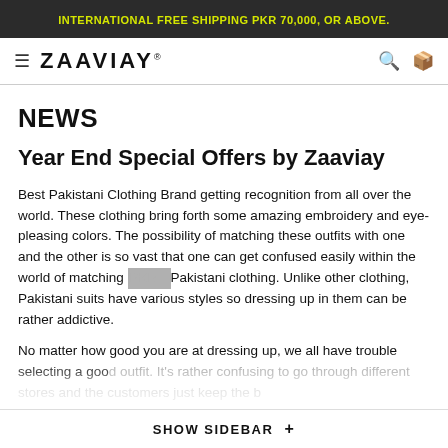INTERNATIONAL FREE SHIPPING PKR 70,000, OR ABOVE.
ZAAVIAY
NEWS
Year End Special Offers by Zaaviay
Best Pakistani Clothing Brand getting recognition from all over the world. These clothing bring forth some amazing embroidery and eye-pleasing colors. The possibility of matching these outfits with one and the other is so vast that one can get confused easily within the world of matching Pakistani clothing. Unlike other clothing, Pakistani suits have various styles so dressing up in them can be rather addictive.
No matter how good you are at dressing up, we all have trouble selecting a good outfit. It's rather confusing to go through different stores and the customers just keep the b...
SHOW SIDEBAR +